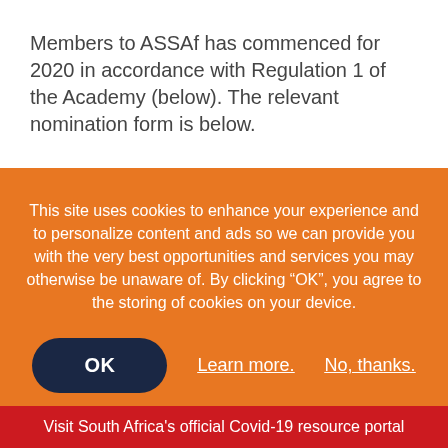Members to ASSAf has commenced for 2020 in accordance with Regulation 1 of the Academy (below). The relevant nomination form is below.
The membership of South Africa's nationally and internationally recognised science academy, ultimately determines the quality and success of the work that ASSAf
This site uses cookies to enhance your experience and to personalize content and ads so we can provide you with the very best opportunities and services you may otherwise be unaware of. By clicking “OK”, you agree to the storing of cookies on your device.
OK
Learn more.
No, thanks.
Visit South Africa's official Covid-19 resource portal